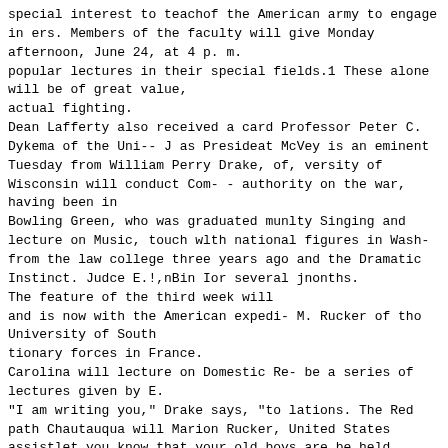special interest to teachof the American army to engage
in ers. Members of the faculty will give Monday
afternoon, June 24, at 4 p. m.
popular lectures in their special fields.1 These alone
will be of great value,
actual fighting.
Dean Lafferty also received a card Professor Peter C.
Dykema of the Uni-- J as Presideat McVey is an eminent
Tuesday from William Perry Drake, of, versity of
Wisconsin will conduct Com- - authority on the war,
having been in
Bowling Green, who was graduated munlty Singing and
lecture on Music, touch wlth national figures in Wash-
from the law college three years ago and the Dramatic
Instinct. Judce E.!,nBin Ior several jnonths.
The feature of the third week will
and is now with the American expedi- M. Rucker of tho
University of South
tionary forces in France.
Carolina will lecture on Domestic Re- be a series of
lectures given by E.
"I am writing you," Drake says, "to lations. The Red
path Chautauqua will Marion Rucker, United States
assistlet you know that your old boys are be held
during the summer session ant attorney, Washington, D.
C, on
doing their bit. Am making good, but and the
entertainments so arranged the "Law of Domestic
Relations."
It's nothing like going to school." He that the